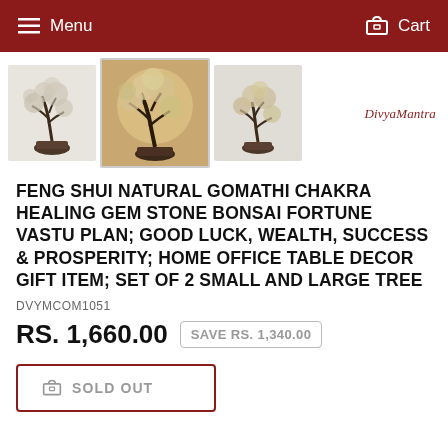Menu  Cart
[Figure (photo): Three product images of Feng Shui Gomathi Chakra bonsai fortune trees with a DivyaMantra brand logo text on the right]
FENG SHUI NATURAL GOMATHI CHAKRA HEALING GEM STONE BONSAI FORTUNE VASTU PLAN; GOOD LUCK, WEALTH, SUCCESS & PROSPERITY; HOME OFFICE TABLE DECOR GIFT ITEM; SET OF 2 SMALL AND LARGE TREE
DVYMCOM1051
RS. 1,660.00   SAVE RS. 1,340.00
SOLD OUT